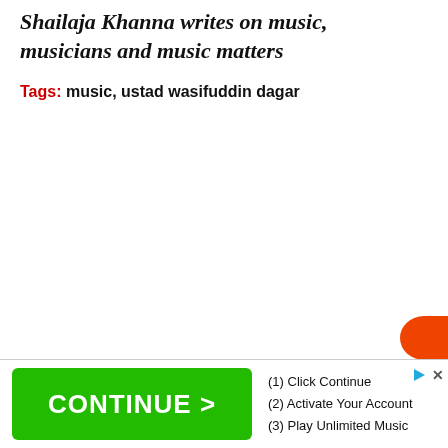Shailaja Khanna writes on music, musicians and music matters
Tags: music, ustad wasifuddin dagar
[Figure (other): Advertisement banner with green CONTINUE > button and steps: (1) Click Continue, (2) Activate Your Account, (3) Play Unlimited Music]